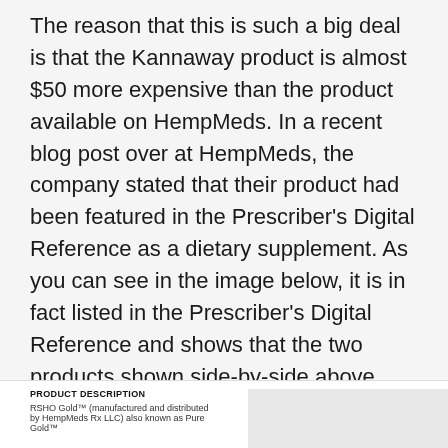The reason that this is such a big deal is that the Kannaway product is almost $50 more expensive than the product available on HempMeds. In a recent blog post over at HempMeds, the company stated that their product had been featured in the Prescriber's Digital Reference as a dietary supplement. As you can see in the image below, it is in fact listed in the Prescriber's Digital Reference and shows that the two products shown side-by-side above are, in fact, the same product priced $50 more expensive for Kannaway customers.
| PRODUCT DESCRIPTION |  |
| --- | --- |
| RSHO Gold™ (manufactured and distributed by HempMeds Rx LLC) also known as Pure Gold™ |  |